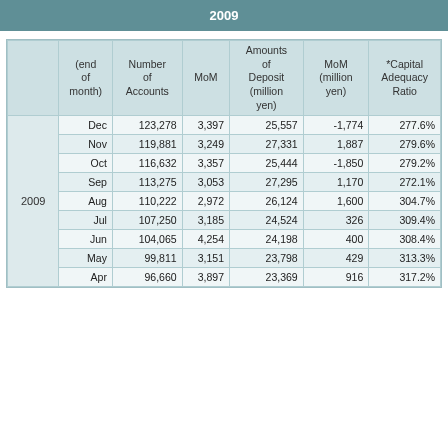2009
|  | (end of month) | Number of Accounts | MoM | Amounts of Deposit (million yen) | MoM (million yen) | *Capital Adequacy Ratio |
| --- | --- | --- | --- | --- | --- | --- |
| 2009 | Dec | 123,278 | 3,397 | 25,557 | -1,774 | 277.6% |
| 2009 | Nov | 119,881 | 3,249 | 27,331 | 1,887 | 279.6% |
| 2009 | Oct | 116,632 | 3,357 | 25,444 | -1,850 | 279.2% |
| 2009 | Sep | 113,275 | 3,053 | 27,295 | 1,170 | 272.1% |
| 2009 | Aug | 110,222 | 2,972 | 26,124 | 1,600 | 304.7% |
| 2009 | Jul | 107,250 | 3,185 | 24,524 | 326 | 309.4% |
| 2009 | Jun | 104,065 | 4,254 | 24,198 | 400 | 308.4% |
| 2009 | May | 99,811 | 3,151 | 23,798 | 429 | 313.3% |
| 2009 | Apr | 96,660 | 3,897 | 23,369 | 916 | 317.2% |